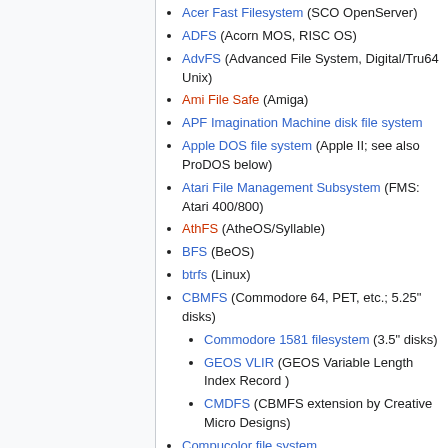Acer Fast Filesystem (SCO OpenServer)
ADFS (Acorn MOS, RISC OS)
AdvFS (Advanced File System, Digital/Tru64 Unix)
Ami File Safe (Amiga)
APF Imagination Machine disk file system
Apple DOS file system (Apple II; see also ProDOS below)
Atari File Management Subsystem (FMS: Atari 400/800)
AthFS (AtheOS/Syllable)
BFS (BeOS)
btrfs (Linux)
CBMFS (Commodore 64, PET, etc.; 5.25" disks)
Commodore 1581 filesystem (3.5" disks)
GEOS VLIR (GEOS Variable Length Index Record )
CMDFS (CBMFS extension by Creative Micro Designs)
Compucolor file system